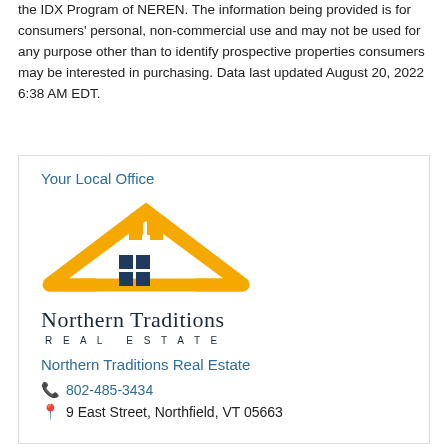the IDX Program of NEREN. The information being provided is for consumers' personal, non-commercial use and may not be used for any purpose other than to identify prospective properties consumers may be interested in purchasing. Data last updated August 20, 2022 6:38 AM EDT.
Your Local Office
[Figure (logo): Northern Traditions Real Estate logo — orange house/roof shape with dark blue window grid, text 'Northern Traditions' in serif font and 'REAL ESTATE' in spaced capitals below]
Northern Traditions Real Estate
802-485-3434
9 East Street, Northfield, VT 05663